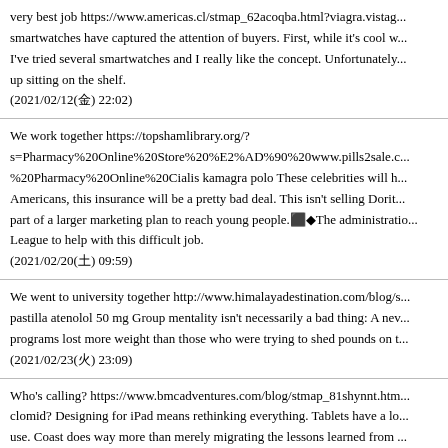very best job https://www.americas.cl/stmap_62acoqba.html?viagra.vistag... smartwatches have captured the attention of buyers. First, while it's cool w... I've tried several smartwatches and I really like the concept. Unfortunately... up sitting on the shelf.
(2021/02/12(金) 22:02)
We work together https://topshamlibrary.org/?s=Pharmacy%20Online%20Store%20%E2%AD%90%20www.pills2sale.c...%20Pharmacy%20Online%20Cialis kamagra polo These celebrities will h... Americans, this insurance will be a pretty bad deal. This isn't selling Dorit... part of a larger marketing plan to reach young people.⬛◆The administratio... League to help with this difficult job.
(2021/02/20(土) 09:59)
We went to university together http://www.himalayadestination.com/blog/s... pastilla atenolol 50 mg Group mentality isn't necessarily a bad thing: A nev... programs lost more weight than those who were trying to shed pounds on t...
(2021/02/23(火) 23:09)
Who's calling? https://www.bmcadventures.com/blog/stmap_81shynnt.htm... clomid? Designing for iPad means rethinking everything. Tablets have a lo... use. Coast does way more than merely migrating the lessons learned from ... and your refreshment of choice, lean back on a nice, comfy couch and disc... you're at TechCrunch Disrupt in San Francisco, drop by the Coast by Oper...
(2021/02/24(水) 15:44)
Will I get travelling expenses? http://nxxn.site beeg ** German publisher A... regionalnewspapers as well as its TV programme guides and women'smag...
(2021/02/27(土) 03:37)